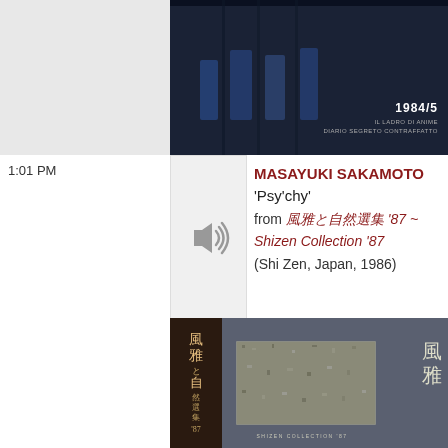[Figure (photo): Album/film image on dark blue/black background with text '1984/5', 'IL LADRO DI ANIME', 'DIARIO SEGRETO CONTRAFFATTO' in bottom right. Left side is gray background placeholder.]
1:01 PM
[Figure (other): Audio speaker/sound icon placeholder thumbnail]
MASAYUKI SAKAMOTO 'Psy'chy' from 風雅と自然選集 '87 ~ Shizen Collection '87 (Shi Zen, Japan, 1986)
[Figure (photo): Album cover for Shizen Collection '87 - dark blue-gray cover with Japanese kanji characters (風雅), brown spine with vertical kanji text (風雅と自然選集 '87), inner rectangular photo of texture/foliage, text 'SHIZEN COLLECTION 87' at bottom.]